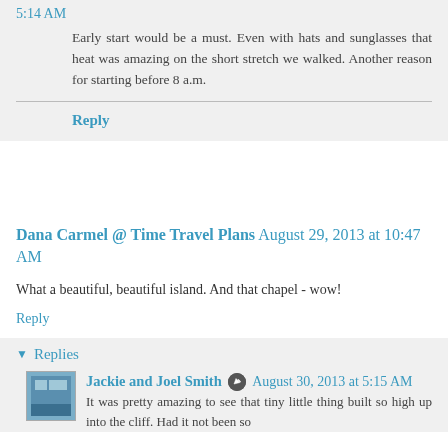5:14 AM
Early start would be a must. Even with hats and sunglasses that heat was amazing on the short stretch we walked. Another reason for starting before 8 a.m.
Reply
Dana Carmel @ Time Travel Plans  August 29, 2013 at 10:47 AM
What a beautiful, beautiful island. And that chapel - wow!
Reply
Replies
Jackie and Joel Smith  August 30, 2013 at 5:15 AM
It was pretty amazing to see that tiny little thing built so high up into the cliff. Had it not been so